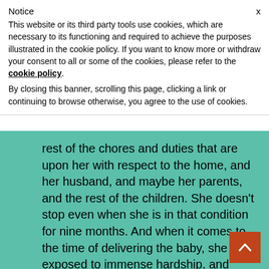Notice
This website or its third party tools use cookies, which are necessary to its functioning and required to achieve the purposes illustrated in the cookie policy. If you want to know more or withdraw your consent to all or some of the cookies, please refer to the cookie policy.
By closing this banner, scrolling this page, clicking a link or continuing to browse otherwise, you agree to the use of cookies.
rest of the chores and duties that are upon her with respect to the home, and her husband, and maybe her parents, and the rest of the children. She doesn’t stop even when she is in that condition for nine months. And when it comes to the time of delivering the baby, she is exposed to immense hardship, and pain, and exhaustion, and even danger, until the birth is over.